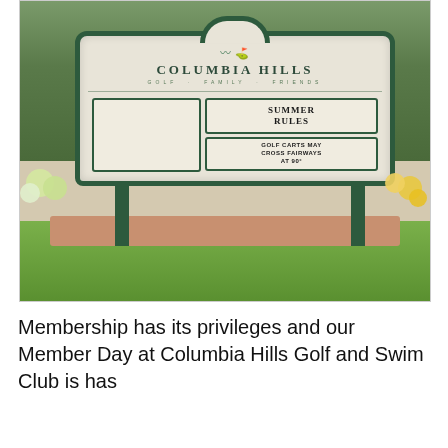[Figure (photo): Outdoor sign for Columbia Hills Golf and Swim Club. A large white sign with a green border and arch on top, mounted on green poles above a brick base. The sign reads 'COLUMBIA HILLS / GOLF · FAMILY · FRIENDS' at the top with a logo. Below are two panels: a blank white rectangular panel on the left, and on the right two panels reading 'SUMMER RULES' and 'GOLF CARTS MAY CROSS FAIRWAYS AT 90°'. The sign is surrounded by lush green trees and flowering plants.]
Membership has its privileges and our Member Day at Columbia Hills Golf and Swim Club is has